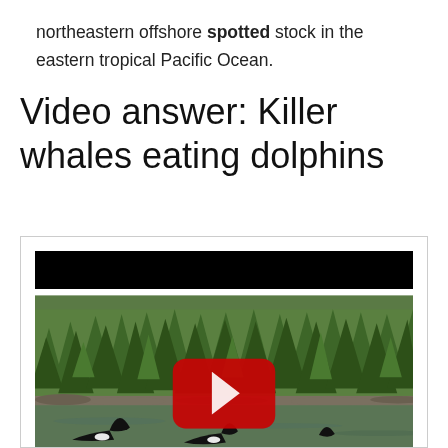northeastern offshore spotted stock in the eastern tropical Pacific Ocean.
Video answer: Killer whales eating dolphins
[Figure (screenshot): A YouTube video thumbnail showing killer whales (orcas) swimming in a body of water with a dense evergreen forest in the background. A red YouTube play button is overlaid in the center of the image. The video thumbnail has a black letterbox bar at the top.]